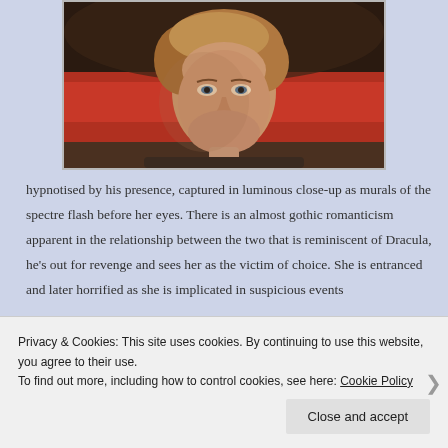[Figure (photo): Close-up photo of a woman with curly blonde hair looking forward, against a blurred red background]
hypnotised by his presence, captured in luminous close-up as murals of the spectre flash before her eyes. There is an almost gothic romanticism apparent in the relationship between the two that is reminiscent of Dracula, he's out for revenge and sees her as the victim of choice. She is entranced and later horrified as she is implicated in suspicious events
Privacy & Cookies: This site uses cookies. By continuing to use this website, you agree to their use.
To find out more, including how to control cookies, see here: Cookie Policy